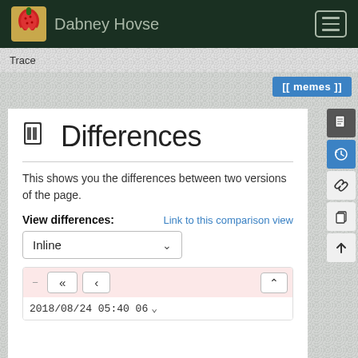Dabney Hovse
Trace
[[ memes ]]
Differences
This shows you the differences between two versions of the page.
View differences:
Link to this comparison view
Inline
2018/08/24 05:40 06...